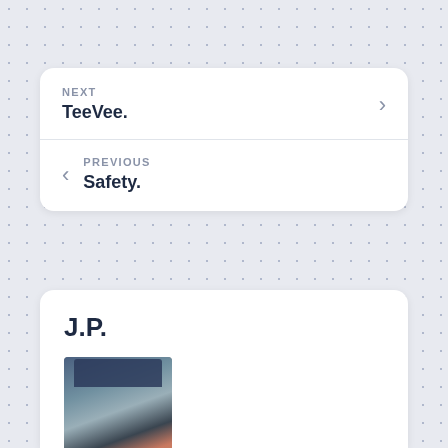NEXT
TeeVee.
PREVIOUS
Safety.
J.P.
[Figure (photo): Headshot photo of a man wearing a baseball cap and reflective sunglasses]
Just a guy with a husband. We've been together 26 years and he still makes me see fireworks on a daily basis. Tech Guy. Data Geek. Open Source. Hackerish. Aviation Geek. Private Pilot. Weird? Eccentric! INFJ.